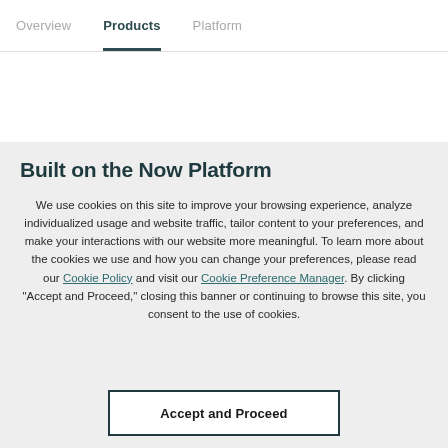Overview  Products  Platform
Built on the Now Platform
We use cookies on this site to improve your browsing experience, analyze individualized usage and website traffic, tailor content to your preferences, and make your interactions with our website more meaningful. To learn more about the cookies we use and how you can change your preferences, please read our Cookie Policy and visit our Cookie Preference Manager. By clicking "Accept and Proceed," closing this banner or continuing to browse this site, you consent to the use of cookies.
Accept and Proceed